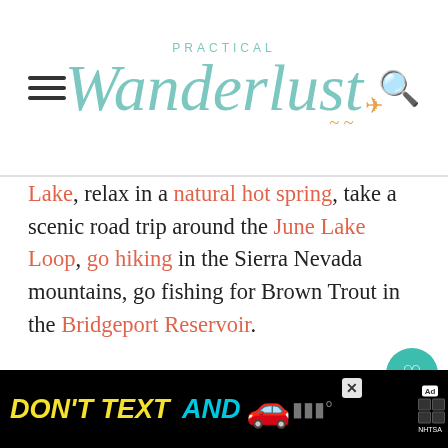Practical Wanderlust
Lake, relax in a natural hot spring, take a scenic road trip around the June Lake Loop, go hiking in the Sierra Nevada mountains, go fishing for Brown Trout in the Bridgeport Reservoir.
Cost: $36 for a covered wagon. Verdict: You don't need nobody. You're a lone wol always have been. Maybe always will be. *Cue a moody gaze into the distance.* it's cheap enough that you don't need to
[Figure (screenshot): What's Next widget showing The 12 Best Weekend Tri...]
[Figure (screenshot): Ad banner: DON'T TEXT AND (drive) - NHTSA public service advertisement on black background]